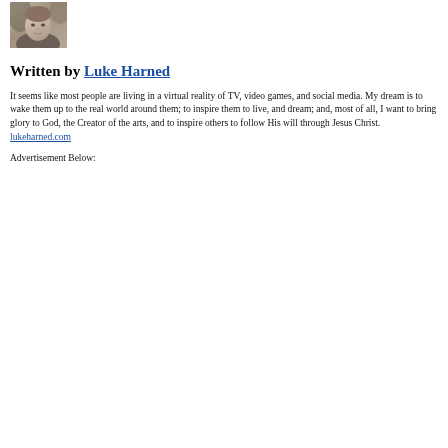[Figure (photo): Headshot photo of Luke Harned, a young man photographed outdoors in grayscale/muted tones]
Written by Luke Harned
It seems like most people are living in a virtual reality of TV, video games, and social media. My dream is to wake them up to the real world around them; to inspire them to live, and dream; and, most of all, I want to bring glory to God, the Creator of the arts, and to inspire others to follow His will through Jesus Christ.
lukeharned.com
Advertisement Below: